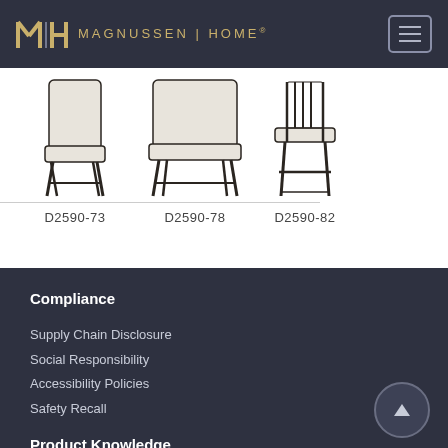MAGNUSSEN | HOME
[Figure (photo): Three dining chairs: D2590-73 (upholstered side chair with dark legs), D2590-78 (upholstered bench/wide chair with dark legs), D2590-82 (slatted counter stool with cushion seat and dark frame)]
D2590-73
D2590-78
D2590-82
Compliance
Supply Chain Disclosure
Social Responsibility
Accessibility Policies
Safety Recall
Product Knowledge